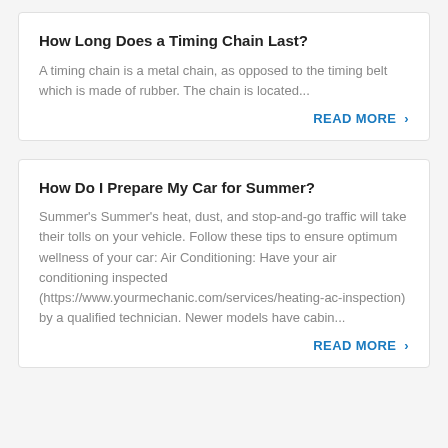How Long Does a Timing Chain Last?
A timing chain is a metal chain, as opposed to the timing belt which is made of rubber. The chain is located...
READ MORE ›
How Do I Prepare My Car for Summer?
Summer's Summer's heat, dust, and stop-and-go traffic will take their tolls on your vehicle. Follow these tips to ensure optimum wellness of your car: Air Conditioning: Have your air conditioning inspected (https://www.yourmechanic.com/services/heating-ac-inspection) by a qualified technician. Newer models have cabin...
READ MORE ›